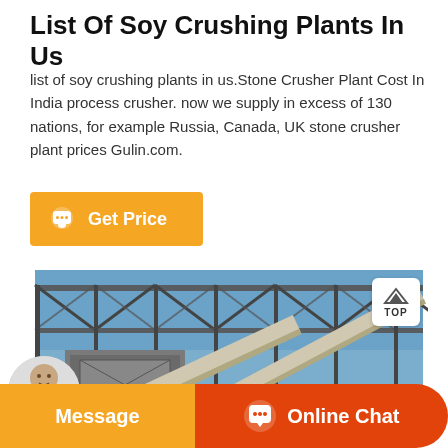List Of Soy Crushing Plants In Us
list of soy crushing plants in us.Stone Crusher Plant Cost In India process crusher. now we supply in excess of 130 nations, for example Russia, Canada, UK stone crusher plant prices Gulin.com.
[Figure (other): Orange 'Get Price' button with chat bubble icon]
[Figure (photo): Industrial crushing plant facility with steel framework truss roof, conveyor belts, and machinery under blue sky]
Message
Online Chat